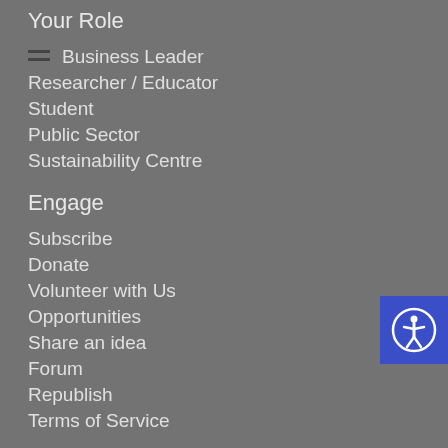Your Role
Business Leader
Researcher / Educator
Student
Public Sector
Sustainability Centre
Engage
Subscribe
Donate
Volunteer with Us
Opportunities
Share an idea
Forum
Republish
Terms of Service
Community